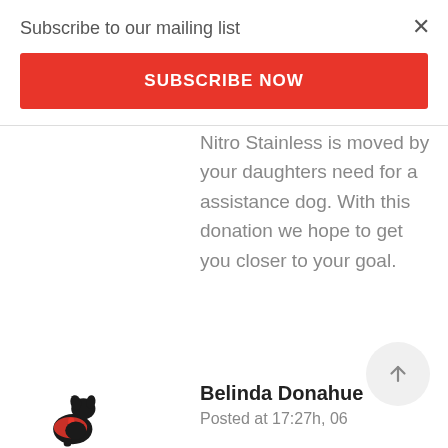Subscribe to our mailing list
SUBSCRIBE NOW
Nitro Stainless is moved by your daughters need for a assistance dog. With this donation we hope to get you closer to your goal.
[Figure (illustration): Circular scroll-to-top button with upward arrow icon]
[Figure (illustration): Silhouette of a dog wearing a red assistance vest]
Belinda Donahue
Posted at 17:27h, 06